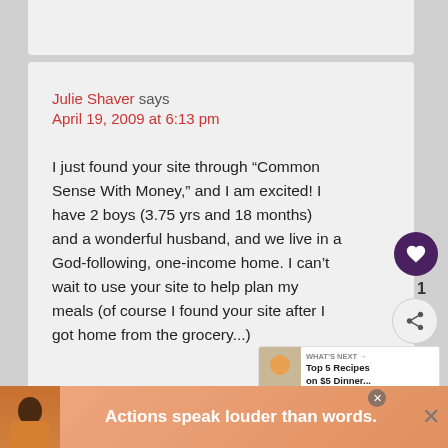Julie Shaver says
April 19, 2009 at 6:13 pm
I just found your site through “Common Sense With Money,” and I am excited! I have 2 boys (3.75 yrs and 18 months) and a wonderful husband, and we live in a God-following, one-income home. I can’t wait to use your site to help plan my meals (of course I found your site after I got home from the grocery...)
WHAT’S NEXT → Top 5 Recipes on $5 Dinner...
Actions speak louder than words.